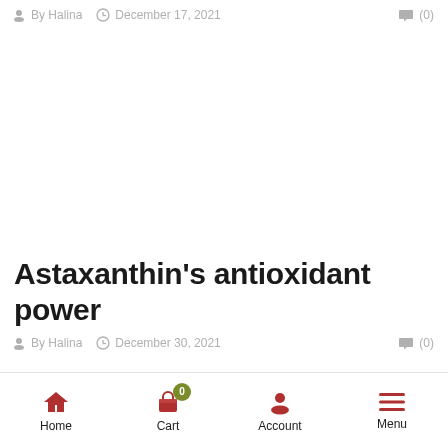By Halina   December 17, 2021   (0)
[Figure (other): Blank white image area]
Astaxanthin’s antioxidant power
By Halina   December 30, 2021   (0)
Home   Cart 0   Account   Menu